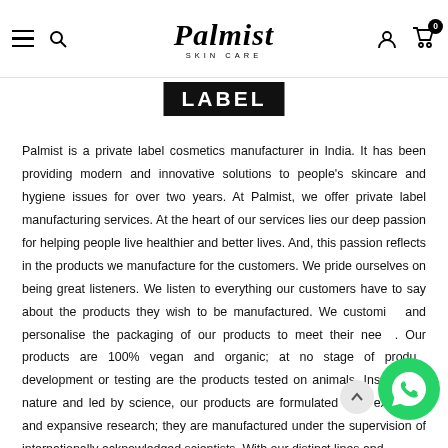Palmist Skin Care — navigation header with hamburger menu, search, logo, user icon, and cart
LABEL
Palmist is a private label cosmetics manufacturer in India. It has been providing modern and innovative solutions to people's skincare and hygiene issues for over two years. At Palmist, we offer private label manufacturing services. At the heart of our services lies our deep passion for helping people live healthier and better lives. And, this passion reflects in the products we manufacture for the customers. We pride ourselves on being great listeners. We listen to everything our customers have to say about the products they wish to be manufactured. We customise and personalise the packaging of our products to meet their needs. Our products are 100% vegan and organic; at no stage of product development or testing are the products tested on animals. Inspired by nature and led by science, our products are formulated after extensive and expansive research; they are manufactured under the supervision of internationally acknowledged scientists. With our distinct lines and